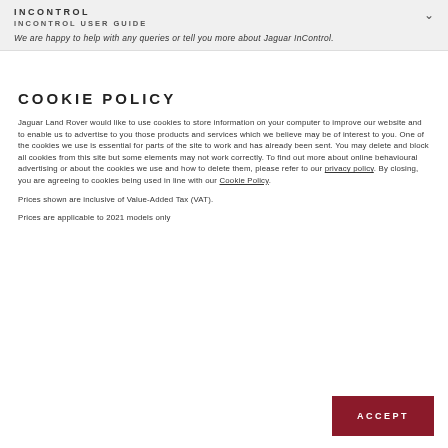INCONTROL
INCONTROL USER GUIDE
We are happy to help with any queries or tell you more about Jaguar InControl.
COOKIE POLICY
Jaguar Land Rover would like to use cookies to store information on your computer to improve our website and to enable us to advertise to you those products and services which we believe may be of interest to you. One of the cookies we use is essential for parts of the site to work and has already been sent. You may delete and block all cookies from this site but some elements may not work correctly. To find out more about online behavioural advertising or about the cookies we use and how to delete them, please refer to our privacy policy. By closing, you are agreeing to cookies being used in line with our Cookie Policy.
Prices shown are inclusive of Value-Added Tax (VAT).
Prices are applicable to 2021 models only
ACCEPT